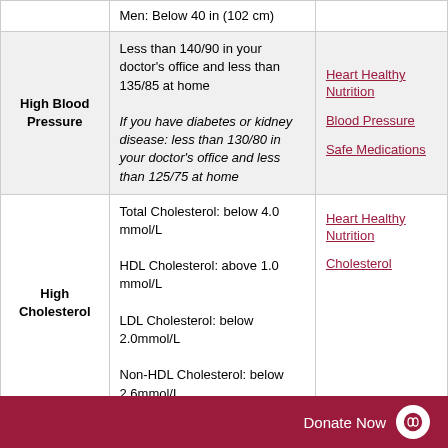| Condition | Target | Resources |
| --- | --- | --- |
|  | Men: Below 40 in (102 cm) |  |
| High Blood Pressure | Less than 140/90 in your doctor's office and less than 135/85 at home
If you have diabetes or kidney disease: less than 130/80 in your doctor's office and less than 125/75 at home | Heart Healthy Nutrition
Blood Pressure
Safe Medications |
| High Cholesterol | Total Cholesterol: below 4.0 mmol/L
HDL Cholesterol: above 1.0 mmol/L
LDL Cholesterol: below 2.0mmol/L
Non-HDL Cholesterol: below 2.6mmol/L | Heart Healthy Nutrition
Cholesterol |
Donate Now